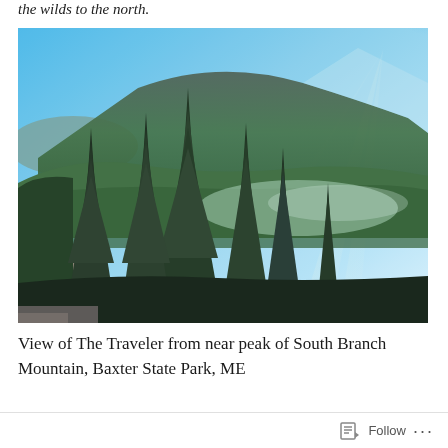the wilds to the north.
[Figure (photo): Panoramic mountain landscape photo showing coniferous trees in the foreground, rolling forested hillsides in the middle ground, a large mountain ridge in the background, and a bright blue sky with sun flare in the upper right corner. Taken from near the peak of South Branch Mountain in Baxter State Park, Maine, looking toward The Traveler.]
View of The Traveler from near peak of South Branch Mountain, Baxter State Park, ME
Follow